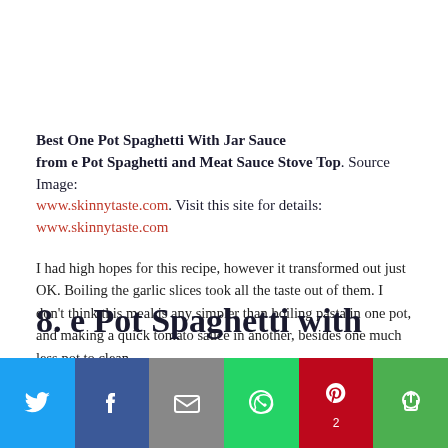Best One Pot Spaghetti With Jar Sauce from e Pot Spaghetti and Meat Sauce Stove Top. Source Image: www.skinnytaste.com. Visit this site for details: www.skinnytaste.com
I had high hopes for this recipe, however it transformed out just OK. Boiling the garlic slices took all the taste out of them. I don't think this meal is any simpler than boiling pasta in one pot, and making a quick tomato sauce in another, besides one much less pot to clean.
8. e Pot Spaghetti with Meat
[Figure (other): Social sharing bar with Twitter, Facebook, Email, WhatsApp, Pinterest (count: 2), and More buttons]